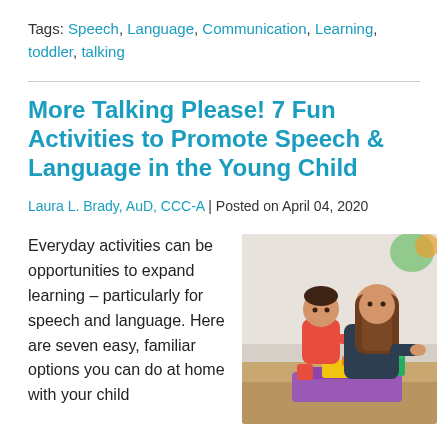Tags: Speech, Language, Communication, Learning, toddler, talking
More Talking Please! 7 Fun Activities to Promote Speech & Language in the Young Child
Laura L. Brady, AuD, CCC-A | Posted on April 04, 2020
Everyday activities can be opportunities to expand learning – particularly for speech and language. Here are seven easy, familiar options you can do at home with your child
[Figure (photo): A woman working with a toddler at a table with colorful toys/stacking cups. The child is in a red shirt, the woman has long brown hair and is wearing a dark shirt. They appear to be in a clinical or educational setting.]